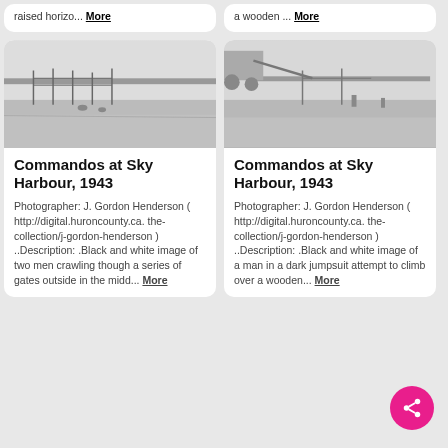raised horizo... More
a wooden ... More
[Figure (photo): Black and white outdoor photograph showing a field with fence/gate structures and figures, Commandos at Sky Harbour 1943]
[Figure (photo): Black and white outdoor photograph showing a field with machinery/equipment and figures, Commandos at Sky Harbour 1943]
Commandos at Sky Harbour, 1943
Photographer: J. Gordon Henderson ( http://digital.huroncounty.ca. the-collection/j-gordon-henderson ) ..Description: .Black and white image of two men crawling though a series of gates outside in the midd... More
Commandos at Sky Harbour, 1943
Photographer: J. Gordon Henderson ( http://digital.huroncounty.ca. the-collection/j-gordon-henderson ) ..Description: .Black and white image of a man in a dark jumpsuit attempt to climb over a wooden... More